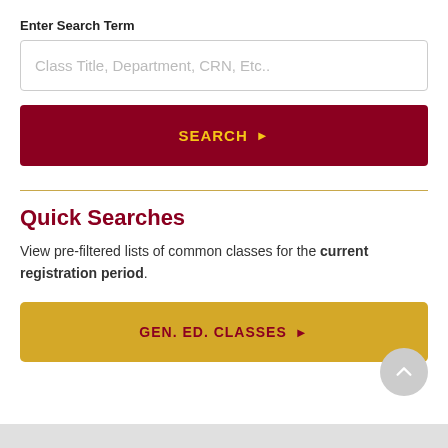Enter Search Term
[Figure (screenshot): Search input field with placeholder text 'Class Title, Department, CRN, Etc..']
[Figure (screenshot): Dark red SEARCH button with gold arrow]
Quick Searches
View pre-filtered lists of common classes for the current registration period.
[Figure (screenshot): Gold GEN. ED. CLASSES button with dark red arrow]